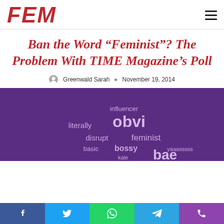FEM
Ban the Word “Feminist”? The Problem With TIME Magazine’s Poll
Greenwald Sarah · November 19, 2014
[Figure (illustration): Word cloud on purple background with words including: influencer, literally, obvi, disrupt, feminist, basic, bossy, yaaasssss, kale, bae]
Facebook | Twitter | WhatsApp | Telegram | Phone